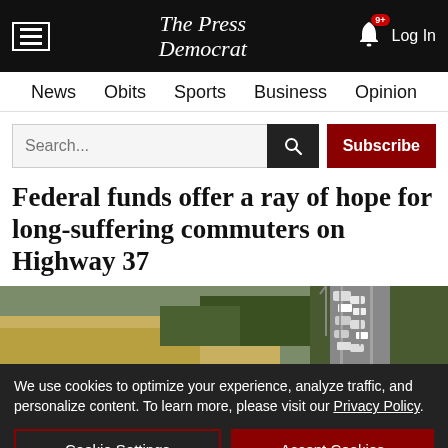The Press Democrat — Log In
News  Obits  Sports  Business  Opinion
Search...
Federal funds offer a ray of hope for long-suffering commuters on Highway 37
[Figure (photo): Aerial photo of Highway 37 with traffic and surrounding landscape]
We use cookies to optimize your experience, analyze traffic, and personalize content. To learn more, please visit our Privacy Policy.
Cookie Settings   Accept Cookies